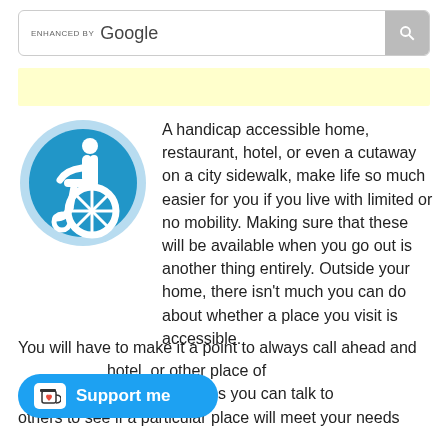[Figure (screenshot): Search bar with 'ENHANCED BY Google' label and search button]
[Figure (other): Yellow advertisement bar placeholder]
[Figure (illustration): International Symbol of Access (wheelchair accessible icon) — blue circle with white wheelchair user symbol]
A handicap accessible home, restaurant, hotel, or even a cutaway on a city sidewalk, make life so much easier for you if you live with limited or no mobility. Making sure that these will be available when you go out is another thing entirely. Outside your home, there isn't much you can do about whether a place you visit is accessible.
You will have to make it a point to always call ahead and [hotel, or other place of] [ble]. Sometimes you can talk to others to see if a particular place will meet your needs
[Figure (other): Support me button — blue pill-shaped button with heart icon and text 'Support me']